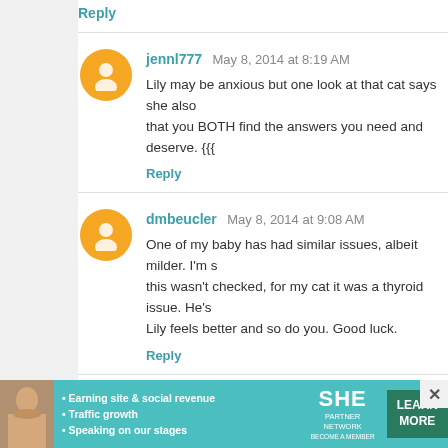Reply
jennl777  May 8, 2014 at 8:19 AM
Lily may be anxious but one look at that cat says she also... that you BOTH find the answers you need and deserve. {{{}}}
Reply
dmbeucler  May 8, 2014 at 9:08 AM
One of my baby has had similar issues, albeit milder. I'm s... this wasn't checked, for my cat it was a thyroid issue. He's... Lily feels better and so do you. Good luck.
Reply
Karen  May 8, 2014 at 9:14 AM
I totally understand this, and I sympathize.

A resource: http://www.aspca.org/pet-care/virtual-pet-behav...

My sister has 2 dogs who are extremely anxious, an...
[Figure (infographic): Advertisement banner for SHE Partner Network with photo of woman, bullet points about earning site & social revenue, traffic growth, speaking on our stages, SHE logo, and LEARN MORE button]